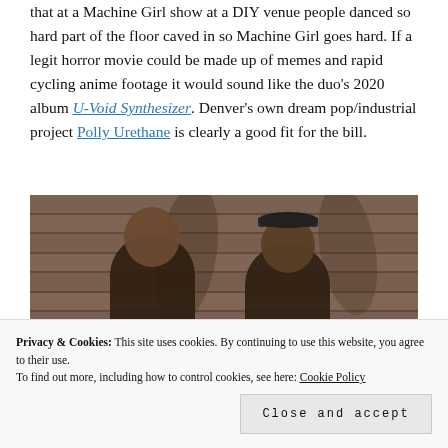that at a Machine Girl show at a DIY venue people danced so hard part of the floor caved in so Machine Girl goes hard. If a legit horror movie could be made up of memes and rapid cycling anime footage it would sound like the duo's 2020 album U-Void Synthesizer. Denver's own dream pop/industrial project Polly Urethane is clearly a good fit for the bill.
[Figure (photo): Two people standing against a wooden plank wall background, photographed outdoors. One person on the left is bald with a mustache wearing a plaid shirt, and one on the right is wearing a cap and plaid shirt. Both cast shadows on the wooden wall behind them.]
Privacy & Cookies: This site uses cookies. By continuing to use this website, you agree to their use. To find out more, including how to control cookies, see here: Cookie Policy